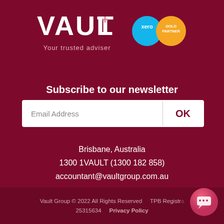[Figure (logo): Vault Group logo with text 'VAULT' and tagline 'Your trusted adviser', alongside Xero and Gold Partner circular badges]
Subscribe to our newsletter
[Figure (other): Email subscription form with 'Email Address' input field and 'OK' button]
Brisbane, Australia
1300 1VAULT (1300 182 858)
accountant@vaultgroup.com.au
Vault Group © 2022 All Rights Reserved    TPB Registr... 25315634    Privacy Policy